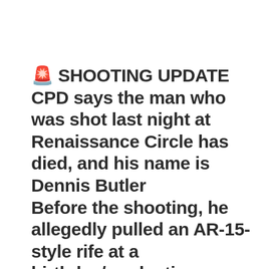🚨 SHOOTING UPDATE CPD says the man who was shot last night at Renaissance Circle has died, and his name is Dennis Butler Before the shooting, he allegedly pulled an AR-15-style rife at a birthday/graduation CPD tells us a person at the party shot and